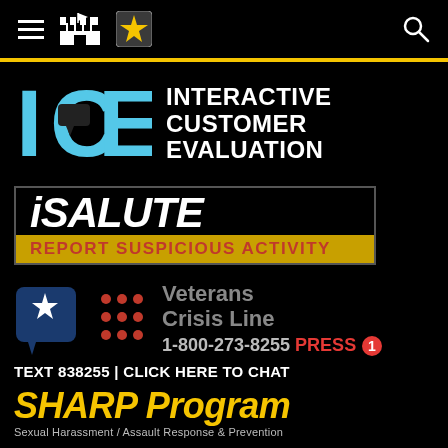Navigation bar with hamburger menu, castle icon, U.S. Army star logo, and search icon
[Figure (logo): ICE Interactive Customer Evaluation logo with light blue block letters ICE and white text INTERACTIVE CUSTOMER EVALUATION]
[Figure (logo): iSALUTE logo - white italic bold text on black with golden banner REPORT SUSPICIOUS ACTIVITY in red]
[Figure (logo): Veterans Crisis Line logo with blue star speech bubble, dot grid, gray text Veterans Crisis Line, phone number 1-800-273-8255 PRESS 1]
TEXT 838255 | CLICK HERE TO CHAT
[Figure (logo): SHARP Program logo in yellow italic bold text with subtitle Sexual Harassment / Assault Response & Prevention]